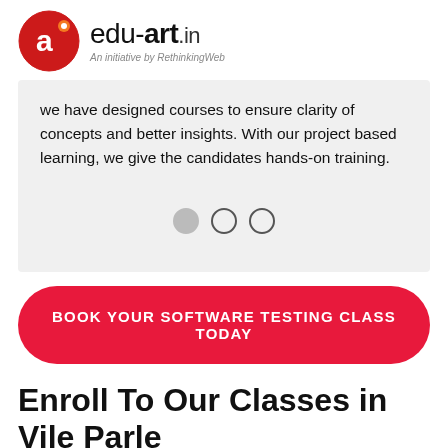[Figure (logo): edu-art.in logo with red circular icon and text 'edu-art.in - An initiative by RethinkingWeb']
we have designed courses to ensure clarity of concepts and better insights. With our project based learning, we give the candidates hands-on training.
BOOK YOUR SOFTWARE TESTING CLASS TODAY
Enroll To Our Classes in Vile Parle